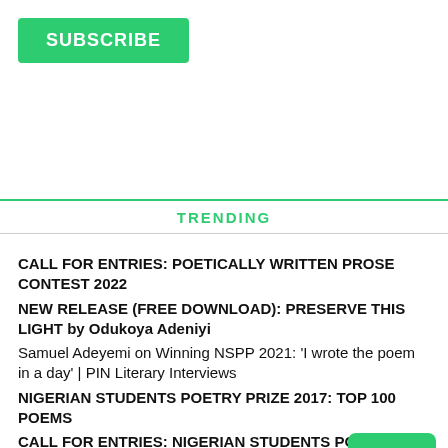SUBSCRIBE
TRENDING
CALL FOR ENTRIES: POETICALLY WRITTEN PROSE CONTEST 2022
NEW RELEASE (FREE DOWNLOAD): PRESERVE THIS LIGHT by Odukoya Adeniyi
Samuel Adeyemi on Winning NSPP 2021: 'I wrote the poem in a day' | PIN Literary Interviews
NIGERIAN STUDENTS POETRY PRIZE 2017: TOP 100 POEMS
CALL FOR ENTRIES: NIGERIAN STUDENTS POETRY (NSPP) 2022
BOOK REVIEW (ISSUE 8)
NIGERIAN STUDENTS POETRY PRIZE (NSPP) 2022 JUDGES